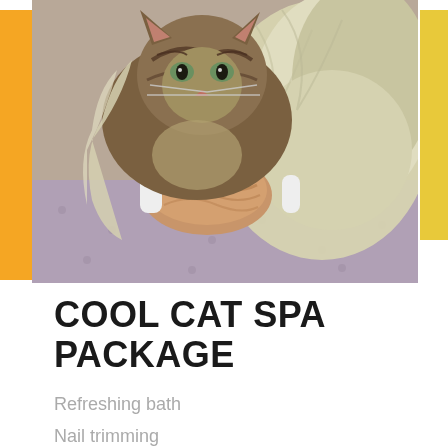[Figure (photo): A cat wrapped in a fluffy cream-colored towel, with orange accent bars on left and yellow on right. The cat looks directly at the camera.]
COOL CAT SPA PACKAGE
Refreshing bath
Nail trimming
Ears cleaned
Sanit...